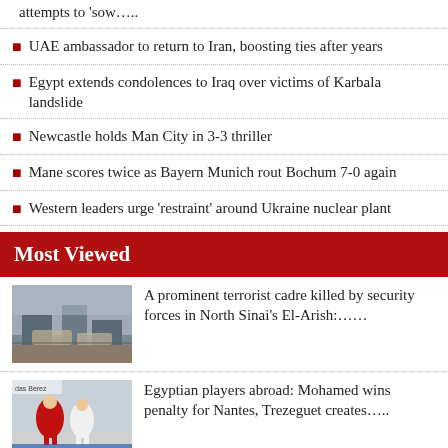attempts to 'sow…..
UAE ambassador to return to Iran, boosting ties after years
Egypt extends condolences to Iraq over victims of Karbala landslide
Newcastle holds Man City in 3-3 thriller
Mane scores twice as Bayern Munich rout Bochum 7-0 again
Western leaders urge 'restraint' around Ukraine nuclear plant
Most Viewed
[Figure (photo): Military vehicles or security forces scene, North Sinai Egypt]
A prominent terrorist cadre killed by security forces in North Sinai's El-Arish:……
[Figure (photo): Football/soccer players during a match, Bayern Munich]
Egyptian players abroad: Mohamed wins penalty for Nantes, Trezeguet creates…..